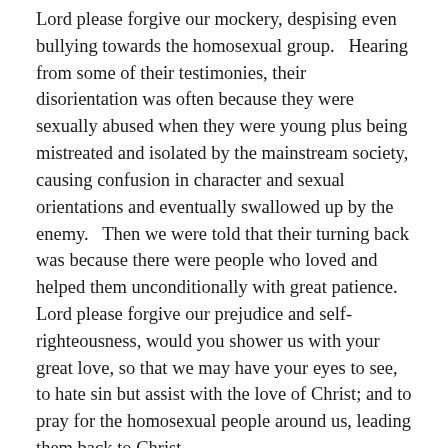Lord please forgive our mockery, despising even bullying towards the homosexual group.   Hearing from some of their testimonies, their disorientation was often because they were sexually abused when they were young plus being mistreated and isolated by the mainstream society, causing confusion in character and sexual orientations and eventually swallowed up by the enemy.   Then we were told that their turning back was because there were people who loved and helped them unconditionally with great patience. Lord please forgive our prejudice and self-righteousness, would you shower us with your great love, so that we may have your eyes to see, to hate sin but assist with the love of Christ; and to pray for the homosexual people around us, leading them back to Christ.
Lord please forgive us for lack of compassion,  for our indifference, powerlessness and self-centeredness, that we have not showed compassion nor given much help to the orphans,  widows,  poor and aliens in the city,  that the church